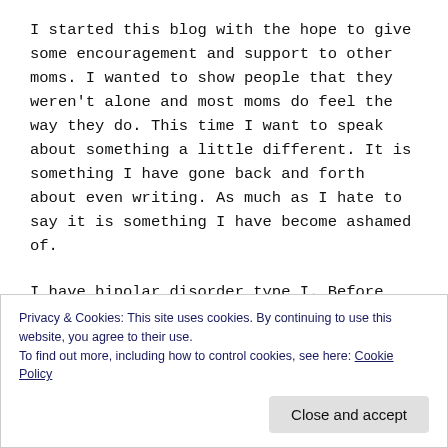I started this blog with the hope to give some encouragement and support to other moms. I wanted to show people that they weren't alone and most moms do feel the way they do. This time I want to speak about something a little different. It is something I have gone back and forth about even writing. As much as I hate to say it is something I have become ashamed of.
I have bipolar disorder type I. Before reading further, if you have bipolar disorder of any kind, (there are multiple types) you have no reason to be ashamed. I
Privacy & Cookies: This site uses cookies. By continuing to use this website, you agree to their use.
To find out more, including how to control cookies, see here: Cookie Policy